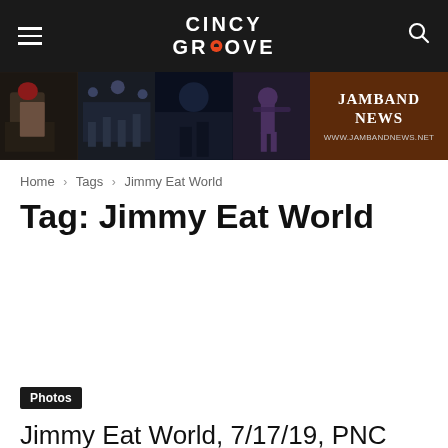CINCY GROOVE
[Figure (photo): Banner advertisement showing concert photos on left side and Jamband News ad (www.jambandnews.net) on right with brown background]
Home › Tags › Jimmy Eat World
Tag: Jimmy Eat World
Photos
Jimmy Eat World, 7/17/19, PNC Pavilion,